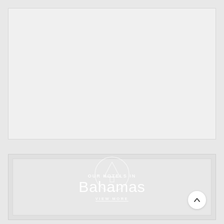[Figure (photo): Top placeholder image area with light gray background, representing a hotel or destination photo]
[Figure (photo): Bottom card section showing 'OUR HOTELS IN Bahamas' text overlay with a circular tree logo icon, VIEW MORE link, and a back-to-top arrow button in the bottom right corner]